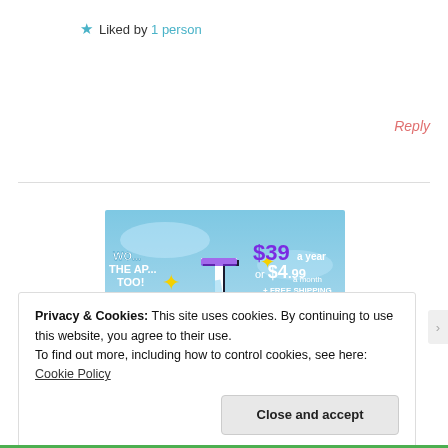★ Liked by 1 person
Reply
[Figure (advertisement): Tumblr ad showing the Tumblr 't' logo with sparkle stars on a blue sky background. Text reads: WO... THE AP... TOO! $39... a year or $4.99 a month + FREE SHIPPING]
Privacy & Cookies: This site uses cookies. By continuing to use this website, you agree to their use.
To find out more, including how to control cookies, see here: Cookie Policy
Close and accept